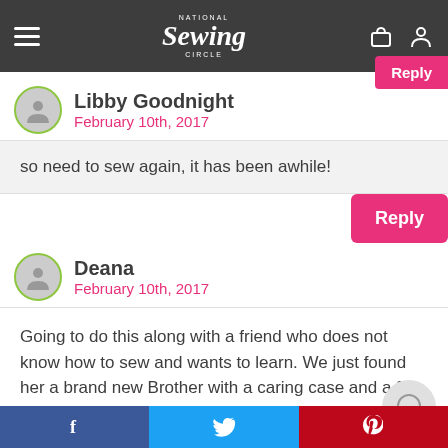National Sewing Circle
Libby Goodnight
February 10th, 2017
so need to sew again, it has been awhile!
Deana
February 10th, 2017
Going to do this along with a friend who does not know how to sew and wants to learn. We just found her a brand new Brother with a caring case and a few accessories for 55.00 so excited.